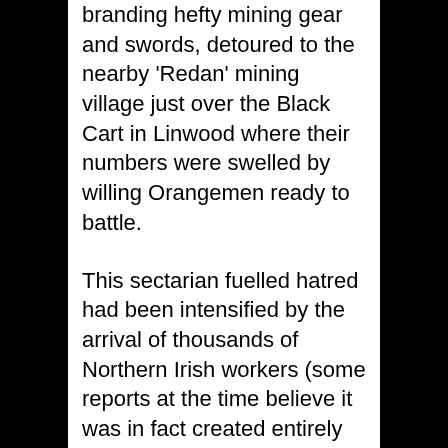branding hefty mining gear and swords, detoured to the nearby 'Redan' mining village just over the Black Cart in Linwood where their numbers were swelled by willing Orangemen ready to battle.
This sectarian fuelled hatred had been intensified by the arrival of thousands of Northern Irish workers (some reports at the time believe it was in fact created entirely by this migration in Renfrewshire) who had transferred their nonsensical differences from Ulster to the central belt of Scotland. This was a new issue for authorities in Paisley as there had be no recordings of such gatherings before 1850 in the area. That said, the Paisley Police are reported to have allowed the mounting violence to